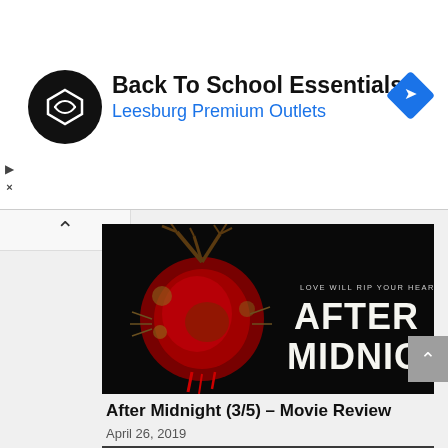[Figure (screenshot): Advertisement banner for Back To School Essentials at Leesburg Premium Outlets with circular logo and blue diamond icon]
Back To School Essentials
Leesburg Premium Outlets
[Figure (photo): Movie poster for After Midnight showing a dark heart with antlers and text 'LOVE WILL RIP YOUR HEART OUT' and 'AFTER MIDNIGHT' in large white letters on black background]
After Midnight (3/5) – Movie Review
April 26, 2019
[Figure (screenshot): Bottom portion of a second movie image showing Netflix N logo and a man's face on a dark striped background]